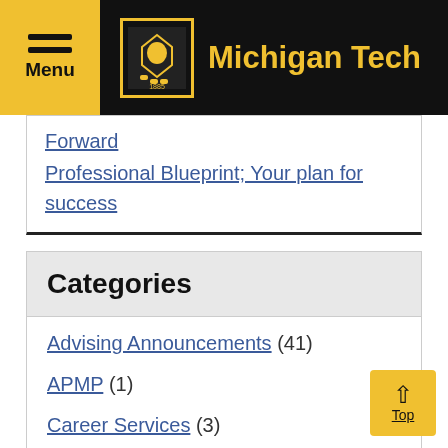Menu | Michigan Tech
Forward
Professional Blueprint; Your plan for success
Categories
Advising Announcements (41)
APMP (1)
Career Services (3)
College of Business (4)
Competition (1)
Development (3)